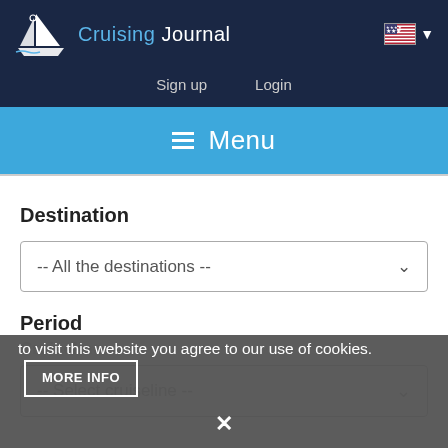Cruising Journal
Menu
Destination
-- All the destinations --
Period
We use cookies to enhance your experience. By continuing to visit this website you agree to our use of cookies.
MORE INFO